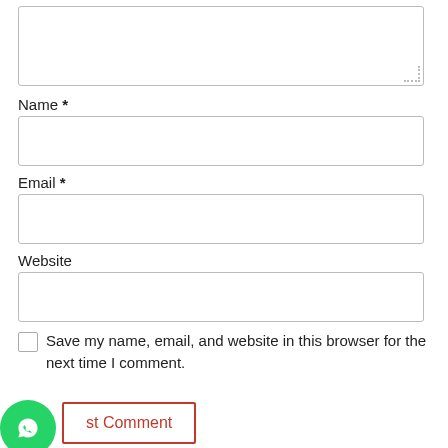[Figure (screenshot): A partially visible textarea form field with a resize handle at the bottom right corner]
Name *
[Figure (screenshot): Empty text input field for Name]
Email *
[Figure (screenshot): Empty text input field for Email]
Website
[Figure (screenshot): Empty text input field for Website]
Save my name, email, and website in this browser for the next time I comment.
[Figure (screenshot): Post Comment button with red border and text, partially obscured by WhatsApp icon]